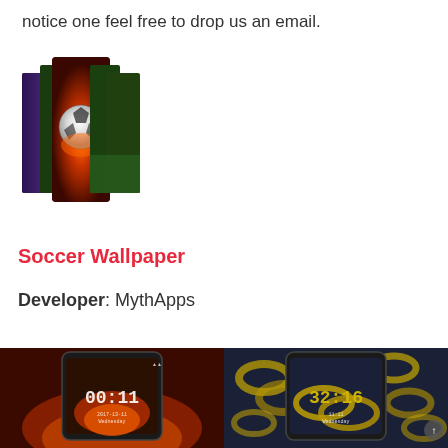notice one feel free to drop us an email.
[Figure (photo): App icon showing a collage of soccer/football wallpaper images fanned out, featuring a flaming soccer ball in the center]
Soccer Wallpaper
Developer: MythApps
[Figure (screenshot): Two smartphone screenshots side by side showing Soccer Wallpaper app: left shows a phone with fiery soccer ball wallpaper and time 00:11, right shows a phone with golden chains wallpaper and time 32:16]